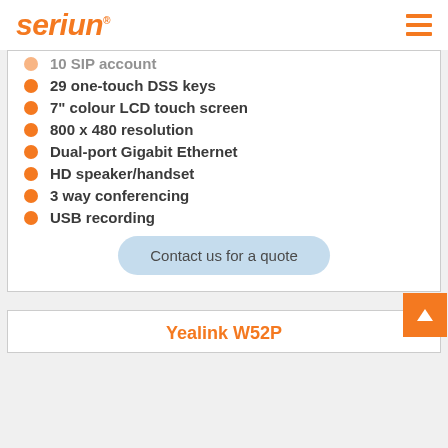seriun
10 SIP account
29 one-touch DSS keys
7" colour LCD touch screen
800 x 480 resolution
Dual-port Gigabit Ethernet
HD speaker/handset
3 way conferencing
USB recording
Contact us for a quote
Yealink W52P